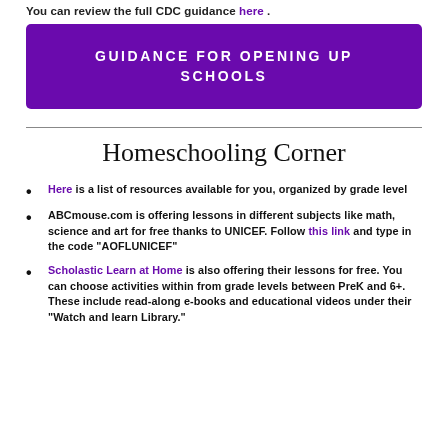You can review the full CDC guidance here .
GUIDANCE FOR OPENING UP SCHOOLS
Homeschooling Corner
Here is a list of resources available for you, organized by grade level
ABCmouse.com is offering lessons in different subjects like math, science and art for free thanks to UNICEF. Follow this link and type in the code "AOFLUNICEF"
Scholastic Learn at Home is also offering their lessons for free. You can choose activities within from grade levels between PreK and 6+. These include read-along e-books and educational videos under their "Watch and learn Library."